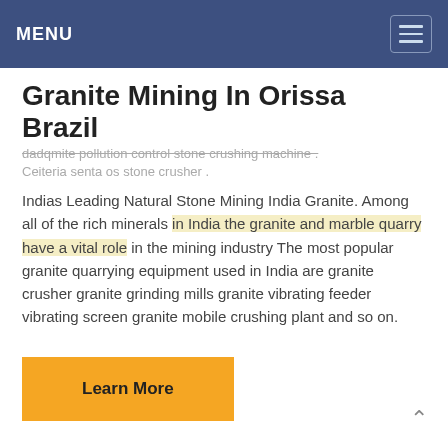MENU
Granite Mining In Orissa Brazil
dadqmite pollution control stone crushing machine . Ceiteria senta os stone crusher .
Indias Leading Natural Stone Mining India Granite. Among all of the rich minerals in India the granite and marble quarry have a vital role in the mining industry The most popular granite quarrying equipment used in India are granite crusher granite grinding mills granite vibrating feeder vibrating screen granite mobile crushing plant and so on.
Learn More